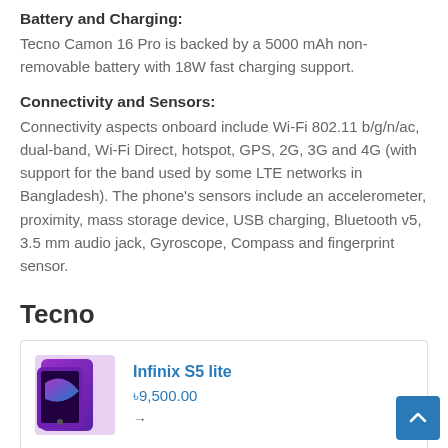Battery and Charging:
Tecno Camon 16 Pro is backed by a 5000 mAh non-removable battery with 18W fast charging support.
Connectivity and Sensors:
Connectivity aspects onboard include Wi-Fi 802.11 b/g/n/ac, dual-band, Wi-Fi Direct, hotspot, GPS, 2G, 3G and 4G (with support for the band used by some LTE networks in Bangladesh). The phone's sensors include an accelerometer, proximity, mass storage device, USB charging, Bluetooth v5, 3.5 mm audio jack, Gyroscope, Compass and fingerprint sensor.
Tecno
Infinix S5 lite
৳9,500.00
→
Tecno Spark 5 Air
৳9,990.00